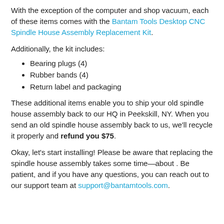With the exception of the computer and shop vacuum, each of these items comes with the Bantam Tools Desktop CNC Spindle House Assembly Replacement Kit.
Additionally, the kit includes:
Bearing plugs (4)
Rubber bands (4)
Return label and packaging
These additional items enable you to ship your old spindle house assembly back to our HQ in Peekskill, NY. When you send an old spindle house assembly back to us, we’ll recycle it properly and refund you $75.
Okay, let’s start installing! Please be aware that replacing the spindle house assembly takes some time—about . Be patient, and if you have any questions, you can reach out to our support team at support@bantamtools.com.